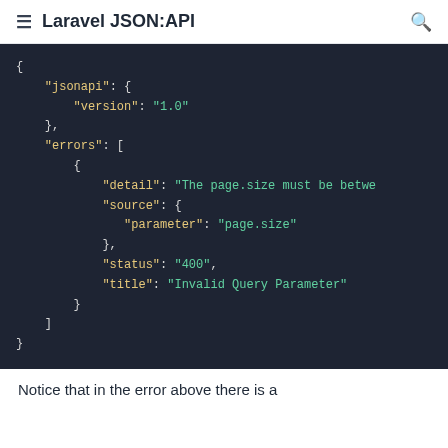Laravel JSON:API
[Figure (screenshot): Code block showing a JSON:API error response with jsonapi version 1.0, errors array containing an object with detail about page.size, source parameter page.size, status 400, and title Invalid Query Parameter]
Notice that in the error above there is a